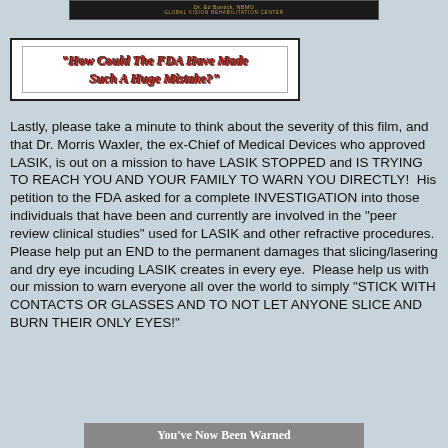[Figure (other): Dark banner with gold text showing doctor name and Global Vision Rehabilitation Center]
"How Could The FDA Have Made Such A Huge Mistake?"
Lastly, please take a minute to think about the severity of this film, and that Dr. Morris Waxler, the ex-Chief of Medical Devices who approved LASIK, is out on a mission to have LASIK STOPPED and IS TRYING TO REACH YOU AND YOUR FAMILY TO WARN YOU DIRECTLY!  His petition to the FDA asked for a complete INVESTIGATION into those individuals that have been and currently are involved in the "peer review clinical studies" used for LASIK and other refractive procedures.  Please help put an END to the permanent damages that slicing/lasering and dry eye incuding LASIK creates in every eye.  Please help us with our mission to warn everyone all over the world to simply "STICK WITH CONTACTS OR GLASSES AND TO NOT LET ANYONE SLICE AND BURN THEIR ONLY EYES!"
[Figure (other): Gray banner with white bold text reading 'You've Now Been Warned']